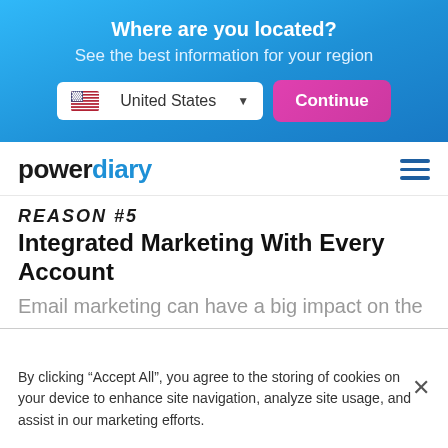Where are you located?
See the best information for your region
[Figure (screenshot): Region selector with United States flag and dropdown, and a Continue button]
[Figure (logo): Power Diary logo with hamburger menu icon]
REASON #5
Integrated Marketing With Every Account
Email marketing can have a big impact on the
By clicking “Accept All”, you agree to the storing of cookies on your device to enhance site navigation, analyze site usage, and assist in our marketing efforts.
Accept All
Cookie Settings